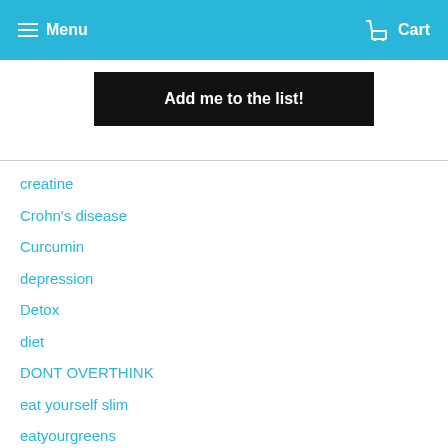Menu   Cart
Add me to the list!
creatine
Crohn's disease
Curcumin
depression
Detox
diet
DONT OVERTHINK
eat yourself slim
eatyourgreens
endurance
endurance athletes
energy
erectile dysfunction
eternal youth